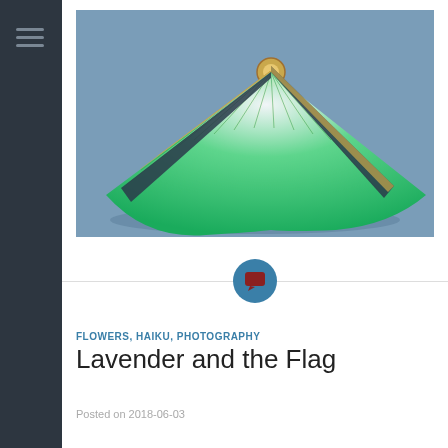[Figure (photo): A green folding fan (sensu) opened wide, photographed against a blue-grey background. The fan has green and white gradient pleated paper panels with bamboo/golden ribs and pivot.]
[Figure (other): Circular teal icon with a dark red speech/chat bubble symbol, centered on a horizontal divider line]
FLOWERS, HAIKU, PHOTOGRAPHY
Lavender and the Flag
Posted on 2018-06-03